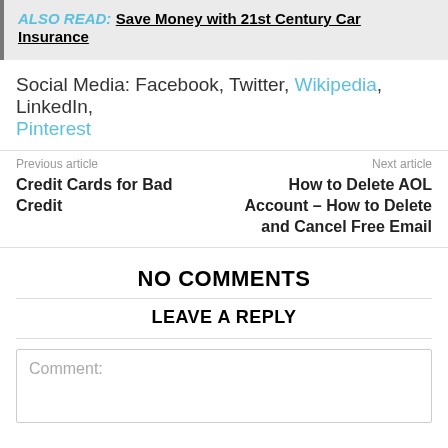ALSO READ: Save Money with 21st Century Car Insurance
Social Media: Facebook, Twitter, Wikipedia, LinkedIn, Pinterest
Previous article
Credit Cards for Bad Credit
Next article
How to Delete AOL Account – How to Delete and Cancel Free Email
NO COMMENTS
LEAVE A REPLY
Comment: